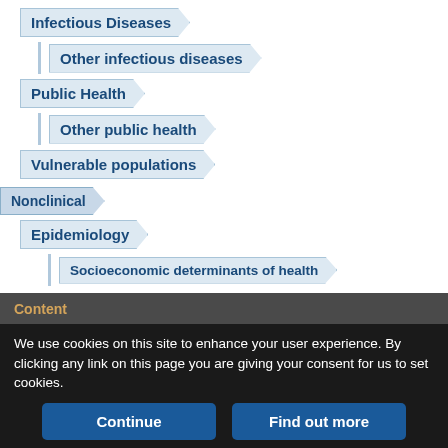Infectious Diseases
Other infectious diseases
Public Health
Other public health
Vulnerable populations
Nonclinical
Epidemiology
Socioeconomic determinants of health
Content
We use cookies on this site to enhance your user experience. By clicking any link on this page you are giving your consent for us to set cookies.
Continue
Find out more